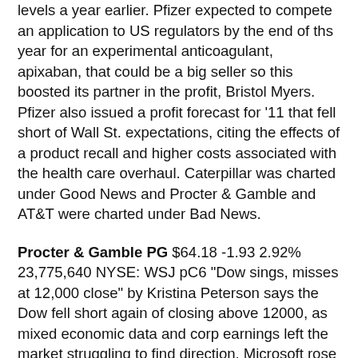levels a year earlier. Pfizer expected to compete an application to US regulators by the end of ths year for an experimental anticoagulant, apixaban, that could be a big seller so this boosted its partner in the profit, Bristol Myers. Pfizer also issued a profit forecast for '11 that fell short of Wall St. expectations, citing the effects of a product recall and higher costs associated with the health care overhaul. Caterpillar was charted under Good News and Procter & Gamble and AT&T were charted under Bad News.
Procter & Gamble PG $64.18 -1.93 2.92% 23,775,640 NYSE: WSJ pC6 "Dow sings, misses at 12,000 close" by Kristina Peterson says the Dow fell short again of closing above 12000, as mixed economic data and corp earnings left the market struggling to find direction. Microsoft rose 9 cents after it unexpectedly released its rosy 2Q earnings well before the market closed. Earnings topped analysts' expectations. Procter & Gamble sank 1.93 after its fiscal 2Q profit slid 28% from a year earlier period that included a large gain from discontinued operations, as profit margins were narrowed by rising commodity costs. AT&T fell 60 cents hurt by a steep decline int he number of new customers signed to